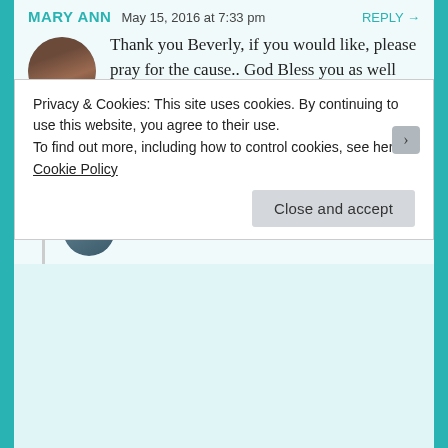MARY ANN   May 15, 2016 at 7:33 pm   REPLY →
Thank you Beverly, if you would like, please pray for the cause.. God Bless you as well 🙂
★ Liked by 4 people
THE CHRIST LOVE AND GLOBAL HOPE MINISTRY
October 15, 2016 at 3:01 pm
Dear Heavenly Father,
Privacy & Cookies: This site uses cookies. By continuing to use this website, you agree to their use.
To find out more, including how to control cookies, see here: Cookie Policy
Close and accept